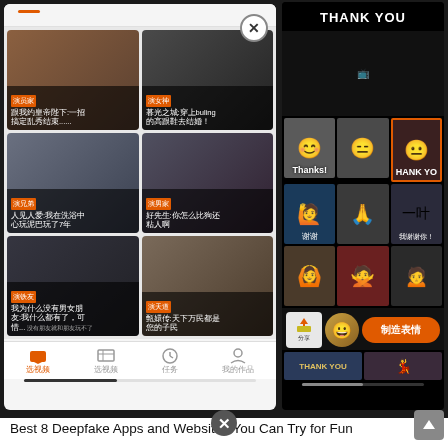[Figure (screenshot): Two mobile app screenshots side by side: left shows a Chinese video app with a grid of celebrity face-swap clips and bottom navigation bar; right shows a 'THANK YOU' emoji/GIF picker interface with a grid of reaction faces and an orange '制造表情' (make expression) button at the bottom.]
Best 8 Deepfake Apps and Websites You Can Try for Fun
MIXED from mixenew.blogspot.com
It paved the way for plenty of. Find all your apps and programs.
Deepfakes web β is a web service that lets you create deepfake videos on the web.